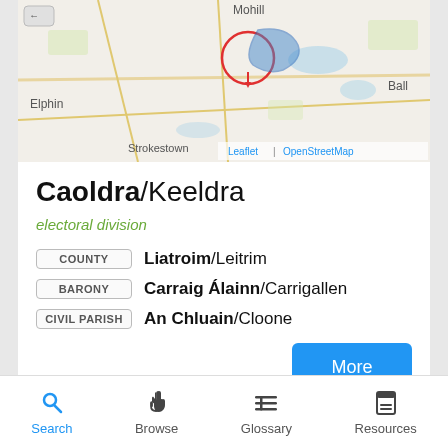[Figure (map): OpenStreetMap tile showing an area of Ireland with Elphin visible to the west, Strokestown at the bottom, Ball to the right, and Mohill/location pin with a red circle and blue highlighted area in the center-north. Leaflet | OpenStreetMap attribution shown.]
Caoldra/Keeldra
electoral division
COUNTY   Liatroim/Leitrim
BARONY   Carraig Álainn/Carrigallen
CIVIL PARISH   An Chluain/Cloone
[Figure (map): Second map preview card, partially visible at the bottom of the screen showing a colorful topographic/land-use map.]